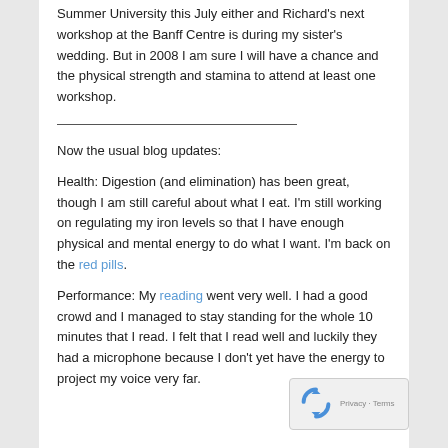Summer University this July either and Richard's next workshop at the Banff Centre is during my sister's wedding. But in 2008 I am sure I will have a chance and the physical strength and stamina to attend at least one workshop.
Now the usual blog updates:
Health: Digestion (and elimination) has been great, though I am still careful about what I eat. I'm still working on regulating my iron levels so that I have enough physical and mental energy to do what I want. I'm back on the red pills.
Performance: My reading went very well. I had a good crowd and I managed to stay standing for the whole 10 minutes that I read. I felt that I read well and luckily they had a microphone because I don't yet have the energy to project my voice very far.